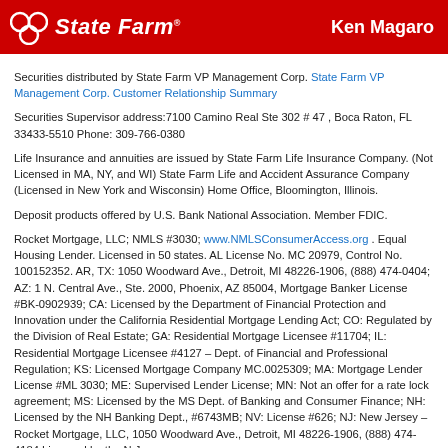State Farm | Ken Magaro
Securities distributed by State Farm VP Management Corp. State Farm VP Management Corp. Customer Relationship Summary
Securities Supervisor address:7100 Camino Real Ste 302 # 47 , Boca Raton, FL 33433-5510 Phone: 309-766-0380
Life Insurance and annuities are issued by State Farm Life Insurance Company. (Not Licensed in MA, NY, and WI) State Farm Life and Accident Assurance Company (Licensed in New York and Wisconsin) Home Office, Bloomington, Illinois.
Deposit products offered by U.S. Bank National Association. Member FDIC.
Rocket Mortgage, LLC; NMLS #3030; www.NMLSConsumerAccess.org . Equal Housing Lender. Licensed in 50 states. AL License No. MC 20979, Control No. 100152352. AR, TX: 1050 Woodward Ave., Detroit, MI 48226-1906, (888) 474-0404; AZ: 1 N. Central Ave., Ste. 2000, Phoenix, AZ 85004, Mortgage Banker License #BK-0902939; CA: Licensed by the Department of Financial Protection and Innovation under the California Residential Mortgage Lending Act; CO: Regulated by the Division of Real Estate; GA: Residential Mortgage Licensee #11704; IL: Residential Mortgage Licensee #4127 – Dept. of Financial and Professional Regulation; KS: Licensed Mortgage Company MC.0025309; MA: Mortgage Lender License #ML 3030; ME: Supervised Lender License; MN: Not an offer for a rate lock agreement; MS: Licensed by the MS Dept. of Banking and Consumer Finance; NH: Licensed by the NH Banking Dept., #6743MB; NV: License #626; NJ: New Jersey – Rocket Mortgage, LLC,